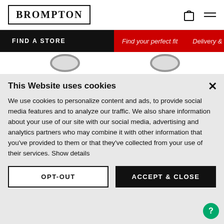BROMPTON
FIND A STORE | Find your perfect fit | Delivery & Re
[Figure (illustration): Partial view of two bicycle wheels visible behind cookie consent banner]
This Website uses cookies
We use cookies to personalize content and ads, to provide social media features and to analyze our traffic. We also share information about your use of our site with our social media, advertising and analytics partners who may combine it with other information that you've provided to them or that they've collected from your use of their services. Show details
OPT-OUT | ACCEPT & CLOSE